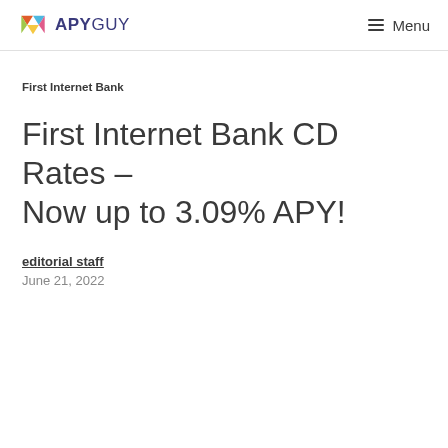APYGUY  Menu
First Internet Bank
First Internet Bank CD Rates – Now up to 3.09% APY!
editorial staff
June 21, 2022